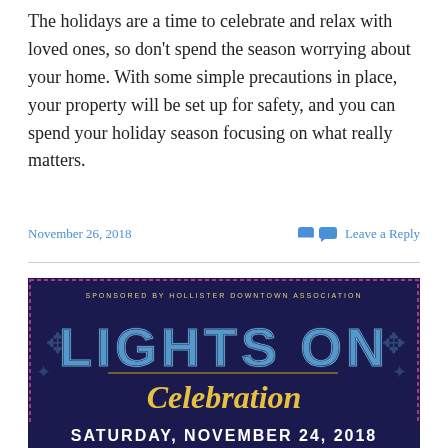The holidays are a time to celebrate and relax with loved ones, so don't spend the season worrying about your home. With some simple precautions in place, your property will be set up for safety, and you can spend your holiday season focusing on what really matters.
November 26, 2018    Leave a Reply
[Figure (illustration): Event poster for 'Lights On Celebration' sponsored by Hollister Downtown Association. Dark navy/purple background with decorative scrollwork border. Large stylized text 'LIGHTS ON' in blue and gold marquee letters, with 'Celebration' in gold cursive script below. Bottom reads 'SATURDAY, NOVEMBER 24, 2018' in white block letters.]